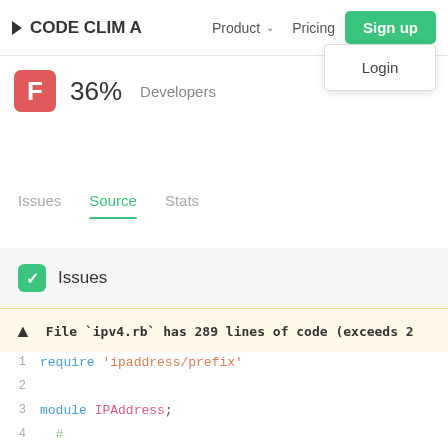CODE CLIMATE — Product — Pricing — Sign up — Login
F  36%  Developers
Issues  Source  Stats
✓ Issues
File `ipv4.rb` has 289 lines of code (exceeds 2...
1  require 'ipaddress/prefix'
2
3  module IPAddress;
4  #
5  # =Name